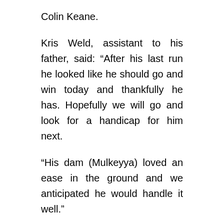Colin Keane.
Kris Weld, assistant to his father, said: “After his last run he looked like he should go and win today and thankfully he has. Hopefully we will go and look for a handicap for him next.
“His dam (Mulkeyya) loved an ease in the ground and we anticipated he would handle it well.”
Jessica Harrington and Shane Foley continued their hot streak by landing the last two races of the day, with Tut Tut (5-2) getting back on the winning trail in the Irish Stallion Farms EBF Premier Nursery and Laelaps